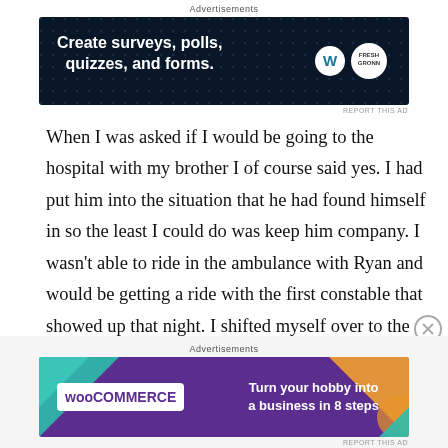Advertisements
[Figure (screenshot): Dark blue advertisement banner reading 'Create surveys, polls, quizzes, and forms.' with WordPress logo on the right]
When I was asked if I would be going to the hospital with my brother I of course said yes. I had put him into the situation that he had found himself in so the least I could do was keep him company. I wasn't able to ride in the ambulance with Ryan and would be getting a ride with the first constable that showed up that night. I shifted myself over to the middle of the back seat of the cruiser so that I could clearly see the back of the ambulance which was parked directly in front it. The
Advertisements
[Figure (screenshot): Purple WooCommerce advertisement banner reading 'Turn your hobby into a business in 8 steps']